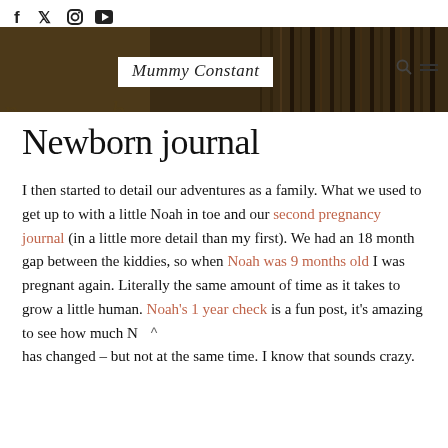Mummy Constant — blog header with social icons (Facebook, Twitter, Instagram, YouTube) and navigation
Newborn journal
I then started to detail our adventures as a family. What we used to get up to with a little Noah in toe and our second pregnancy journal (in a little more detail than my first). We had an 18 month gap between the kiddies, so when Noah was 9 months old I was pregnant again. Literally the same amount of time as it takes to grow a little human. Noah's 1 year check is a fun post, it's amazing to see how much N has changed – but not at the same time. I know that sounds crazy.